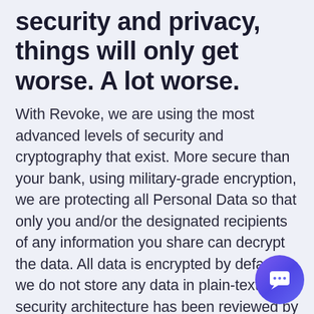security and privacy, things will only get worse. A lot worse.
With Revoke, we are using the most advanced levels of security and cryptography that exist. More secure than your bank, using military-grade encryption, we are protecting all Personal Data so that only you and/or the designated recipients of any information you share can decrypt the data. All data is encrypted by default, we do not store any data in plain-text. Our security architecture has been reviewed by our board advisor, Professor Bill Buchanan OBE, a leading cybersecurity professor and author. You can read more about our Security Policy here.